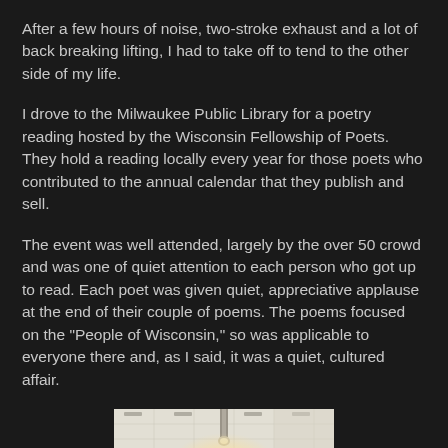After a few hours of noise, two-stroke exhaust and a lot of back breaking lifting, I had to take off to tend to the other side of my life.
I drove to the Milwaukee Public Library for a poetry reading hosted by the Wisconsin Fellowship of Poets. They hold a reading locally every year for those poets who contributed to the annual calendar that they publish and sell.
The event was well attended, largely by the over 50 crowd and was one of quiet attention to each person who got up to read. Each poet was given quiet, appreciative applause at the end of their couple of poems. The poems focused on the "People of Wisconsin," so was applicable to everyone there and, as I said, it was a quiet, cultured affair.
[Figure (photo): Interior photo of what appears to be a library or event hall ceiling with a chandelier/pendant light fixture glowing warmly against a white tiled ceiling.]